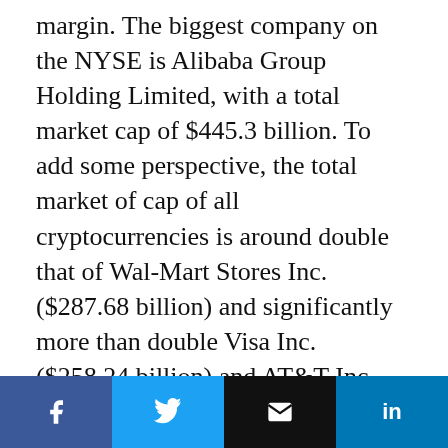margin. The biggest company on the NYSE is Alibaba Group Holding Limited, with a total market cap of $445.3 billion. To add some perspective, the total market of cap of all cryptocurrencies is around double that of Wal-Mart Stores Inc. ($287.68 billion) and significantly more than double Visa Inc. ($258.24 billion) and AT&T Inc. ($258.24 billion).
But cryptocurrency is valued at significantly less than NASDAQ's biggest tech firms. Apple is top with a market cap of $893.22 billion. This is followed by top iterations of Google's parent...
[Figure (infographic): Social sharing bar with Facebook, Twitter, Email, and LinkedIn buttons]